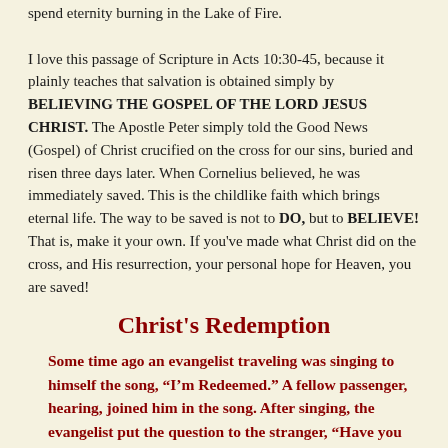spend eternity burning in the Lake of Fire.

I love this passage of Scripture in Acts 10:30-45, because it plainly teaches that salvation is obtained simply by BELIEVING THE GOSPEL OF THE LORD JESUS CHRIST. The Apostle Peter simply told the Good News (Gospel) of Christ crucified on the cross for our sins, buried and risen three days later. When Cornelius believed, he was immediately saved. This is the childlike faith which brings eternal life. The way to be saved is not to DO, but to BELIEVE! That is, make it your own. If you've made what Christ did on the cross, and His resurrection, your personal hope for Heaven, you are saved!
Christ's Redemption
Some time ago an evangelist traveling was singing to himself the song, “I’m Redeemed.” A fellow passenger, hearing, joined him in the song. After singing, the evangelist put the question to the stranger, “Have you been redeemed?” “Yes, praise the Lord,” was the answer. “May I ask how long